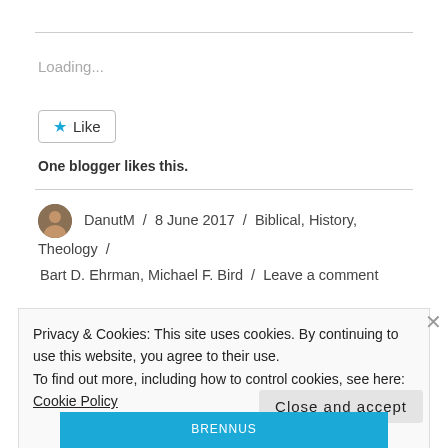Loading...
Like
One blogger likes this.
DanutM / 8 June 2017 / Biblical, History, Theology / Bart D. Ehrman, Michael F. Bird / Leave a comment
Privacy & Cookies: This site uses cookies. By continuing to use this website, you agree to their use.
To find out more, including how to control cookies, see here: Cookie Policy
Close and accept